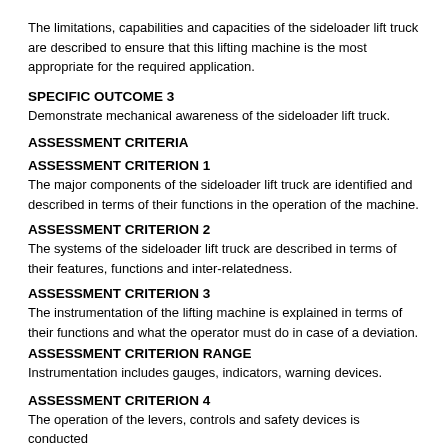The limitations, capabilities and capacities of the sideloader lift truck are described to ensure that this lifting machine is the most appropriate for the required application.
SPECIFIC OUTCOME 3
Demonstrate mechanical awareness of the sideloader lift truck.
ASSESSMENT CRITERIA
ASSESSMENT CRITERION 1
The major components of the sideloader lift truck are identified and described in terms of their functions in the operation of the machine.
ASSESSMENT CRITERION 2
The systems of the sideloader lift truck are described in terms of their features, functions and inter-relatedness.
ASSESSMENT CRITERION 3
The instrumentation of the lifting machine is explained in terms of their functions and what the operator must do in case of a deviation.
ASSESSMENT CRITERION RANGE
Instrumentation includes gauges, indicators, warning devices.
ASSESSMENT CRITERION 4
The operation of the levers, controls and safety devices is conducted